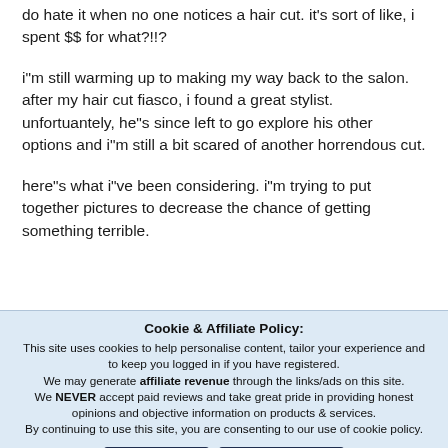do hate it when no one notices a hair cut. it's sort of like, i spent $$ for what?!!?
i"m still warming up to making my way back to the salon. after my hair cut fiasco, i found a great stylist. unfortuantely, he"s since left to go explore his other options and i"m still a bit scared of another horrendous cut.
here"s what i"ve been considering. i"m trying to put together pictures to decrease the chance of getting something terrible.
Cookie & Affiliate Policy: This site uses cookies to help personalise content, tailor your experience and to keep you logged in if you have registered. We may generate affiliate revenue through the links/ads on this site. We NEVER accept paid reviews and take great pride in providing honest opinions and objective information on products & services. By continuing to use this site, you are consenting to our use of cookie policy.
Accept
Learn more...